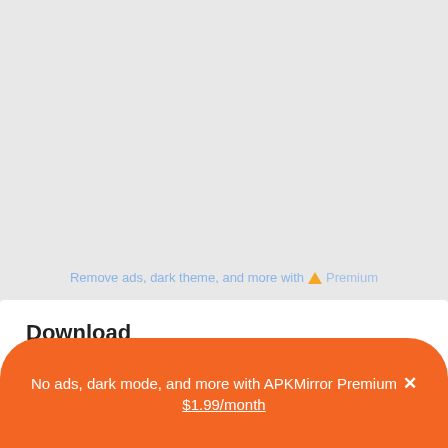Remove ads, dark theme, and more with  Premium
Download
This release may come in several variants. Consult our handy FAQ to see which download is right for you.
| Variant | Arch | Version | DPI |
| --- | --- | --- | --- |
| 6.58.0 APK |  |  |  |
No ads, dark mode, and more with APKMirror Premium ×
$1.99/month